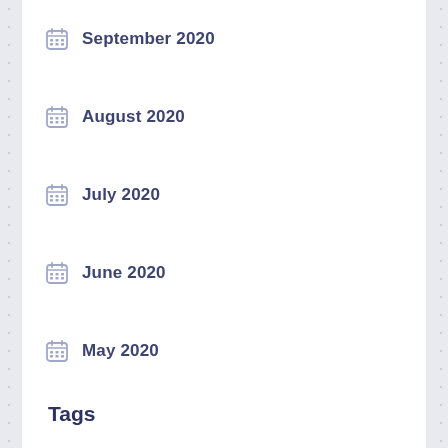September 2020
August 2020
July 2020
June 2020
May 2020
April 2020
March 2020
February 2020
January 2019
Tags